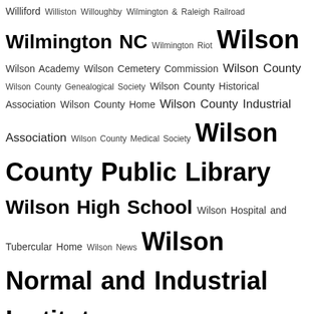Williford Williston Willoughby Wilmington & Raleigh Railroad Wilmington NC Wilmington Riot Wilson Wilson Academy Wilson Cemetery Commission Wilson County Wilson County Genealogical Society Wilson County Historical Association Wilson County Home Wilson County Industrial Association Wilson County Medical Society Wilson County Public Library Wilson High School Wilson Hospital and Tubercular Home Wilson News Wilson Normal and Industrial Institute Wilson Primitive Baptist Church Wilson Tobs Wilson township Wilson Veneer Company wine Wingate Winley Winn Winstead Winston-Salem NC Winston-Salem Teachers College winter wisteria witness witness fee witness tampering Women's Army Corps women's auxiliary women's club women in workplace Wood Woodard Woodard Avenue woods wood stove Wooten work work apparel workplace injury workplace violence workshop Works Projects Administration World War I World War II Worrell Worth Worthington Wright wrongful death Wynn ymca Yancey yearbook